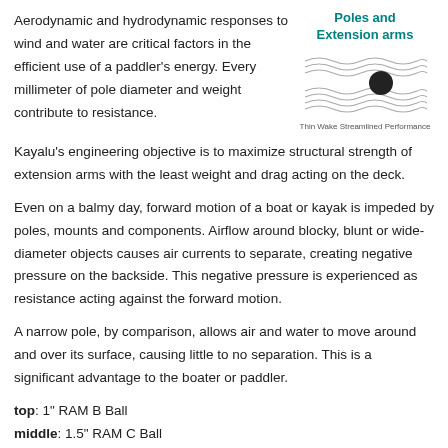Aerodynamic and hydrodynamic responses to wind and water are critical factors in the efficient use of a paddler's energy. Every millimeter of pole diameter and weight contribute to resistance.
[Figure (logo): Kayalu logo with text 'Poles and Extension arms', wavy streamline graphic with black circle, caption 'Thin Wake Streamlined Performance']
Kayalu's engineering objective is to maximize structural strength of extension arms with the least weight and drag acting on the deck.
Even on a balmy day, forward motion of a boat or kayak is impeded by poles, mounts and components. Airflow around blocky, blunt or wide-diameter objects causes air currents to separate, creating negative pressure on the backside. This negative pressure is experienced as resistance acting against the forward motion.
A narrow pole, by comparison, allows air and water to move around and over its surface, causing little to no separation. This is a significant advantage to the boater or paddler.
top: 1" RAM B Ball
middle: 1.5" RAM C Ball